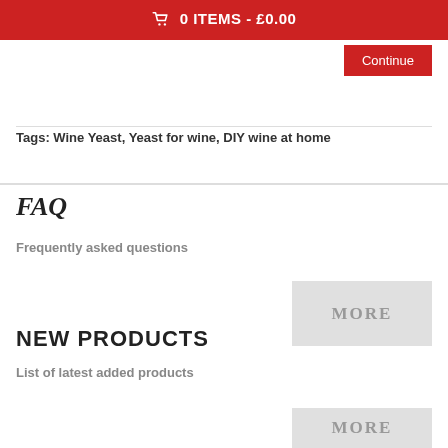0 ITEMS - £0.00
Continue
Tags: Wine Yeast, Yeast for wine, DIY wine at home
FAQ
Frequently asked questions
MORE
NEW PRODUCTS
List of latest added products
MORE